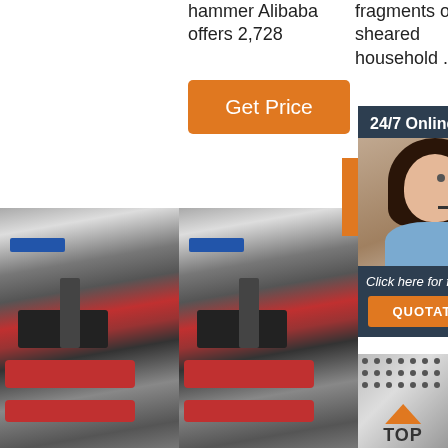hammer Alibaba offers 2,728
fragments of sheared household ...
[Figure (other): Orange Get Price button]
[Figure (other): 24/7 Online chat panel with customer service representative photo, Click here for free chat!, and QUOTATION button]
[Figure (photo): Industrial machinery with red pipes and metal components, shown twice side by side]
[Figure (other): TOP logo with orange triangle on perforated metal background]